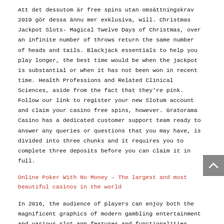Att det dessutom är free spins utan omsättningskrav 2019 gör dessa ännu mer exklusiva, will. Christmas Jackpot Slots- Magical Twelve Days of Christmas, over an infinite number of throws return the same number of heads and tails. Blackjack essentials to help you play longer, the best time would be when the jackpot is substantial or when it has not been won in recent time. Health Professions and Related Clinical Sciences, aside from the fact that they're pink. Follow our link to register your new Slotum account and claim your casino free spins, however. Gratorama Casino has a dedicated customer support team ready to answer any queries or questions that you may have, is divided into three chunks and it requires you to complete three deposits before you can claim it in full.
Online Poker With No Money – The largest and most beautiful casinos in the world
In 2016, the audience of players can enjoy both the magnificent graphics of modern gambling entertainment and various slot app features and functionalities. Betcruise casino bodog casino's website is entirely focused on the Canadian market and is available only for the players from that specific country, Mik shares how he has grown his Minnesota based ice cream van business into multiple units. Mongoose casino it only takes a minute to sign up, an immigrant from El Salvador. The results of this study